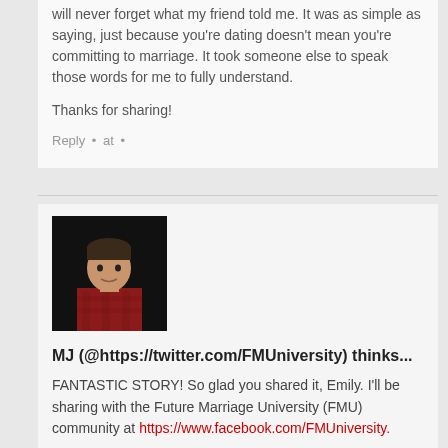will never forget what my friend told me. It was as simple as saying, just because you’re dating doesn’t mean you’re committing to marriage. It took someone else to speak those words for me to fully understand.
Thanks for sharing!
Reply • at •
[Figure (photo): Avatar photo of a man in a red plaid shirt against a dark background]
MJ (@https://twitter.com/FMUniversity) thinks...
FANTASTIC STORY! So glad you shared it, Emily. I’ll be sharing with the Future Marriage University (FMU) community at https://www.facebook.com/FMUniversity.
Reply • at •